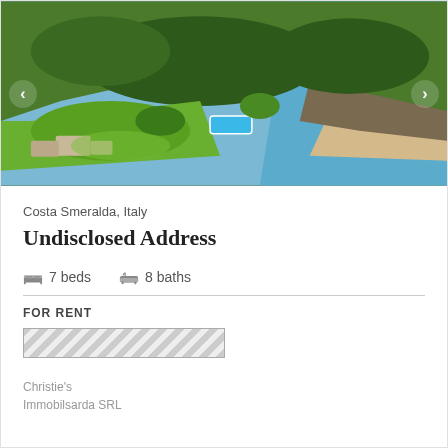[Figure (photo): Aerial view of a luxury coastal villa in Costa Smeralda, Italy, surrounded by lush green vegetation and the turquoise Mediterranean sea, with a rectangular swimming pool visible.]
Costa Smeralda, Italy
Undisclosed Address
7 beds   8 baths
FOR RENT
[redacted price]
Christie's
Immobilsarda SRL